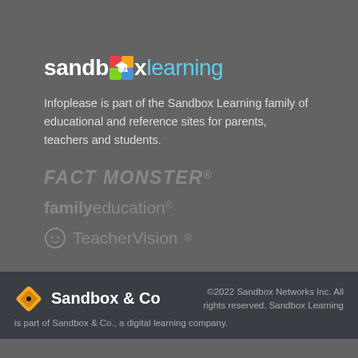[Figure (logo): Sandbox Learning logo with colorful graduation cap icon replacing the 'o' in sandbox, followed by 'learning' in light blue]
Infoplease is part of the Sandbox Learning family of educational and reference sites for parents, teachers and students.
[Figure (logo): Fact Monster logo in gray italic bold uppercase text]
[Figure (logo): familyeducation logo with 'family' in bold and 'education' in regular weight]
[Figure (logo): TeacherVision logo with apple icon]
[Figure (logo): Sandbox & Co logo with orange diamond/square icon and white bold text]
©2022 Sandbox Networks Inc. All rights reserved. Sandbox Learning is part of Sandbox & Co., a digital learning company.